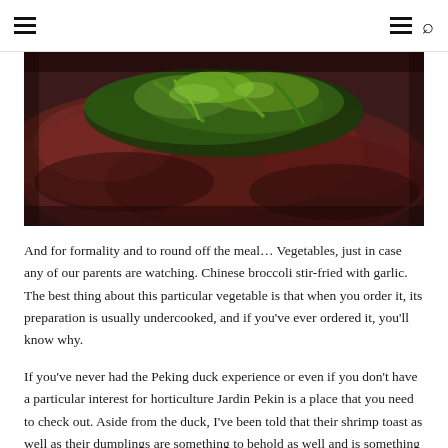Navigation header with hamburger menus and search icon
[Figure (photo): Close-up photograph of Chinese broccoli stir-fried with garlic, showing dark green vegetables with a reddish-brown sauce on a dark plate]
And for formality and to round off the meal… Vegetables, just in case any of our parents are watching. Chinese broccoli stir-fried with garlic. The best thing about this particular vegetable is that when you order it, its preparation is usually undercooked, and if you've ever ordered it, you'll know why.
If you've never had the Peking duck experience or even if you don't have a particular interest for horticulture Jardin Pekin is a place that you need to check out. Aside from the duck, I've been told that their shrimp toast as well as their dumplings are something to behold as well and is something I'm planning on ordering the next time around. Jardin Pekin